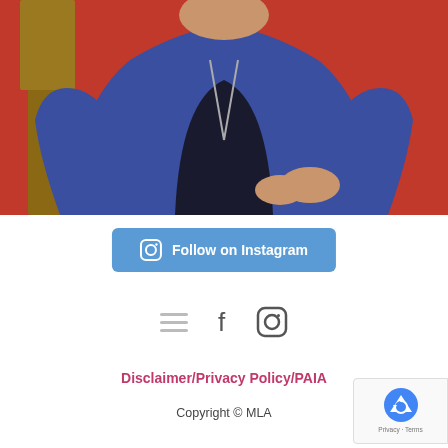[Figure (photo): Person wearing a blue hoodie against a red background, hands clasped together]
Follow on Instagram
[Figure (infographic): Footer navigation: hamburger menu icon, Facebook icon, Instagram icon]
Disclaimer/Privacy Policy/PAIA
Copyright © MLA
[Figure (other): reCAPTCHA badge with Privacy and Terms links]